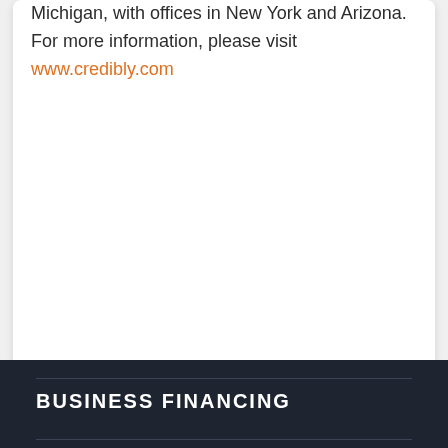Michigan, with offices in New York and Arizona. For more information, please visit www.credibly.com
BUSINESS FINANCING